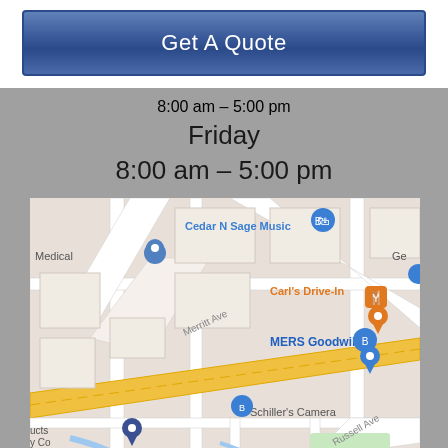Get A Quote
8:00 am – 5:00 pm
Friday
8:00 am – 5:00 pm
[Figure (map): Google Maps screenshot showing area with Cedar N Sage Music, Medical (with pin), Carl's Drive-In, MERS Goodwill, Schiller's Camera, Merritt Ave, Russell Ave, and a yellow diagonal road/highway. Blue shopping bag pins and orange restaurant pin visible.]